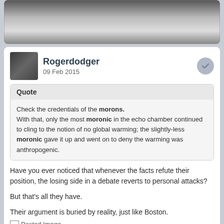[Figure (photo): Partial blurred photo at the top of a forum post card, showing colorful objects in the background]
Rogerdodger
09 Feb 2015
Quote
Check the credentials of the morons.
With that, only the most moronic in the echo chamber continued to cling to the notion of no global warming; the slightly-less moronic gave it up and went on to deny the warming was anthropogenic.
Have you ever noticed that whenever the facts refute their position, the losing side in a debate reverts to personal attacks?

But that's all they have.

Their argument is buried by reality, just like Boston.
[Figure (photo): Posted Image placeholder icon]
Edited by Rogerdodger, 09 February 2015 - 10:11 PM.